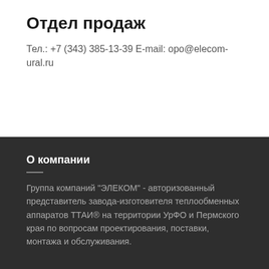Отдел продаж
Тел.: +7 (343) 385-13-39 E-mail: opo@elecom-ural.ru
О компании
Группа компаний "ЭЛЕКОМ" - авторизованный представитель завода-изготовителя теплообменных аппаратов ТТАИ® на территории УрФО и Пермского края по вопросам проектирования, поставки, монтажа и обслуживания.